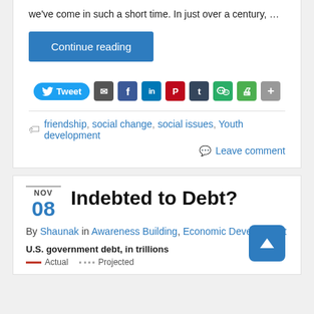we've come in such a short time. In just over a century, …
Continue reading
[Figure (other): Social share buttons row: Tweet, Email, Facebook, LinkedIn, Pinterest, Tumblr, WeChat, Print, More]
friendship, social change, social issues, Youth development
Leave comment
Indebted to Debt?
NOV 08
By Shaunak in Awareness Building, Economic Development
U.S. government debt, in trillions
— Actual  ···· Projected